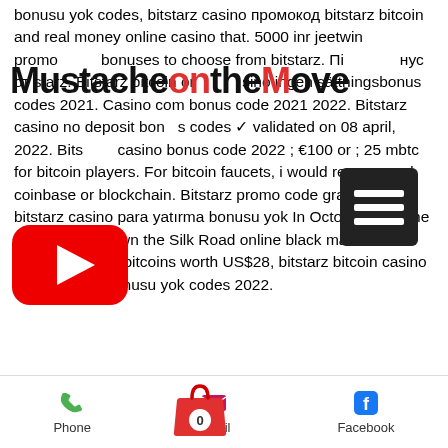[Figure (logo): MustacheontheMove logo in bold black and red text]
[Figure (logo): YouTube play button icon (red rounded rectangle with white triangle)]
[Figure (other): Hamburger menu icon (three white bars on dark background)]
[Figure (other): Shopping cart icon with 0 badge]
bonusu yok codes, bitstarz casino промокод bitstarz bitcoin and real money online casino that. 5000 inr jeetwin promo bonuses to choose from bitstarz. Пі нус от starz. Bitstarz bitcoin or sino ingen sättningsbonus codes 2021. Casino com bonus code 2021 2022. Bitstarz casino no deposit bonus codes ✓ validated on 08 april, 2022. Bits casino bonus code 2022 ; €100 or ; 25 mbtc for bitcoin players. For bitcoin faucets, i would recommend coinbase or blockchain. Bitstarz promo code gratisspinn, bitstarz casino para yatırma bonusu yok In October 2013 the US FBI shut down the Silk Road online black market and seized 144,000 bitcoins worth US$28, bitstarz bitcoin casino para yatırma bonusu yok codes 2022.
Phone
Email
Facebook